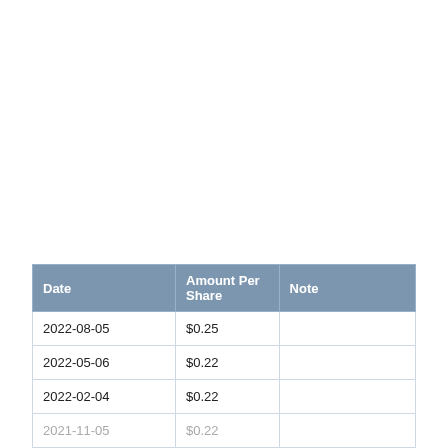| Date | Amount Per Share | Note |
| --- | --- | --- |
| 2022-08-05 | $0.25 |  |
| 2022-05-06 | $0.22 |  |
| 2022-02-04 | $0.22 |  |
| 2021-11-05 | $0.22 |  |